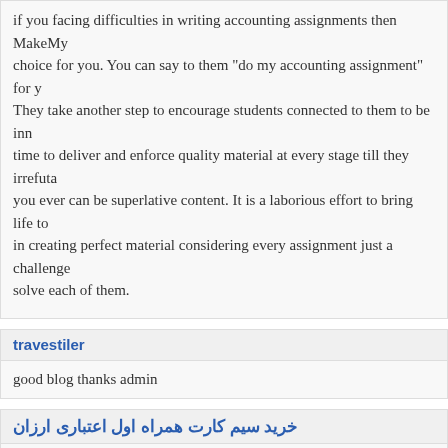if you facing difficulties in writing accounting assignments then MakeMy... choice for you. You can say to them "do my accounting assignment" for ... They take another step to encourage students connected to them to be inn... time to deliver and enforce quality material at every stage till they irrefuta... you ever can be superlative content. It is a laborious effort to bring life to... in creating perfect material considering every assignment just a challenge... solve each of them.
travestiler
good blog thanks admin
خرید سیم کارت همراه اول اعتباری ارزان
nice post . Thank you for posting something like this
Leave a Reply → Buy Sildena usa
Click here to cancel reply.
Name *